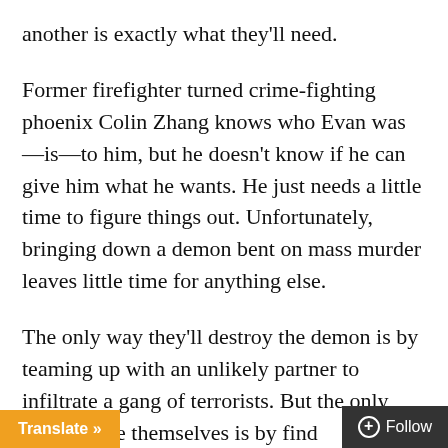another is exactly what they'll need.
Former firefighter turned crime-fighting phoenix Colin Zhang knows who Evan was—is—to him, but he doesn't know if he can give him what he wants. He just needs a little time to figure things out. Unfortunately, bringing down a demon bent on mass murder leaves little time for anything else.
The only way they'll destroy the demon is by teaming up with an unlikely partner to infiltrate a gang of terrorists. But the only way to save themselves is by find
Translate »
+ Follow